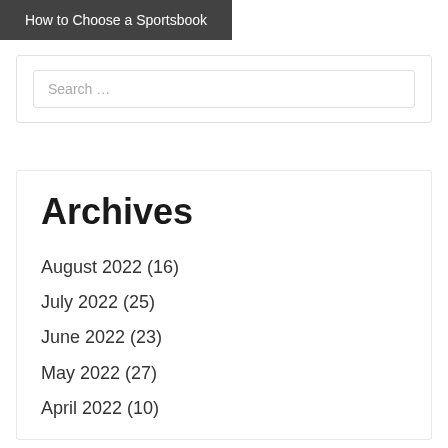[Figure (photo): Dark overlay image block with text 'How to Choose a Sportsbook']
Search …
Archives
August 2022 (16)
July 2022 (25)
June 2022 (23)
May 2022 (27)
April 2022 (10)